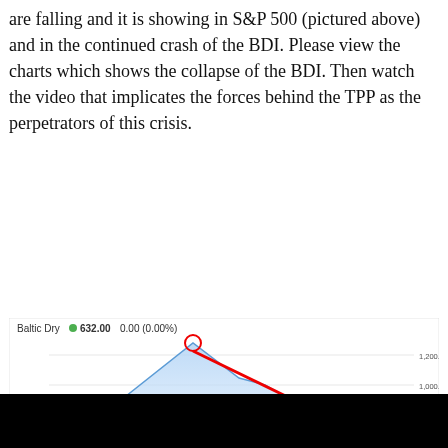are falling and it is showing in S&P 500 (pictured above) and in the continued crash of the BDI. Please view the charts which shows the collapse of the BDI. Then watch the video that implicates the forces behind the TPP as the perpetrators of this crisis.
[Figure (area-chart): Baltic Dry Index area chart showing -57% decline since early November 2014 to 632.00 by Jan 26, 2015. Annotated with red arrow and text '-57% since early November'.]
[Figure (screenshot): Black video player area at the bottom of the page.]